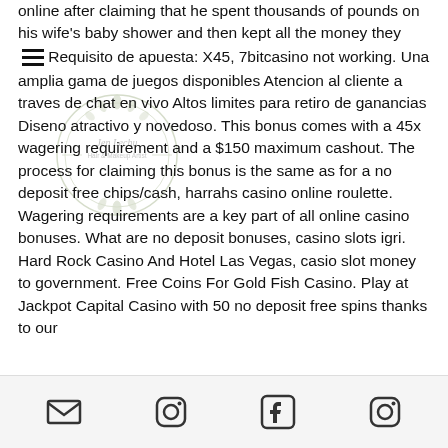online after claiming that he spent thousands of pounds on his wife's baby shower and then kept all the money they Requisito de apuesta: X45, 7bitcasino not working. Una amplia gama de juegos disponibles Atencion al cliente a traves de chat en vivo Altos limites para retiro de ganancias Diseno atractivo y novedoso. This bonus comes with a 45x wagering requirement and a $150 maximum cashout. The process for claiming this bonus is the same as for a no deposit free chips/cash, harrahs casino online roulette. Wagering requirements are a key part of all online casino bonuses. What are no deposit bonuses, casino slots igri. Hard Rock Casino And Hotel Las Vegas, casio slot money to government. Free Coins For Gold Fish Casino. Play at Jackpot Capital Casino with 50 no deposit free spins thanks to our
[Figure (logo): Circular floral watermark logo with text 'Jen Lechu Hair & Makeup Artist']
Email icon | Instagram icon | Facebook icon | Instagram icon